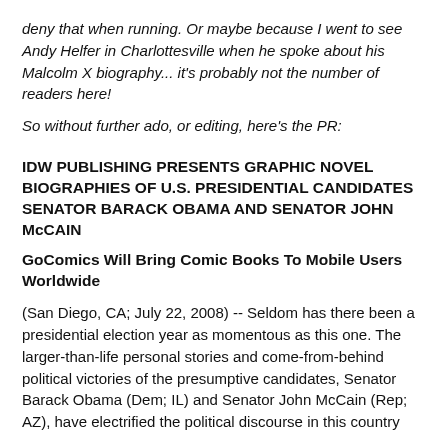deny that when running. Or maybe because I went to see Andy Helfer in Charlottesville when he spoke about his Malcolm X biography... it's probably not the number of readers here!
So without further ado, or editing, here's the PR:
IDW PUBLISHING PRESENTS GRAPHIC NOVEL BIOGRAPHIES OF U.S. PRESIDENTIAL CANDIDATES SENATOR BARACK OBAMA AND SENATOR JOHN McCAIN
GoComics Will Bring Comic Books To Mobile Users Worldwide
(San Diego, CA; July 22, 2008) -- Seldom has there been a presidential election year as momentous as this one. The larger-than-life personal stories and come-from-behind political victories of the presumptive candidates, Senator Barack Obama (Dem; IL) and Senator John McCain (Rep; AZ), have electrified the political discourse in this country